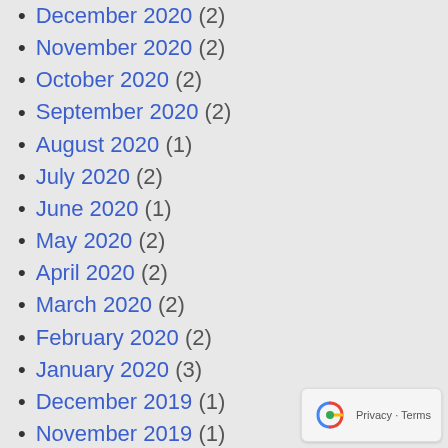December 2020 (2)
November 2020 (2)
October 2020 (2)
September 2020 (2)
August 2020 (1)
July 2020 (2)
June 2020 (1)
May 2020 (2)
April 2020 (2)
March 2020 (2)
February 2020 (2)
January 2020 (3)
December 2019 (1)
November 2019 (1)
October 2019 (3)
September 2019 (3)
August 2019 (3)